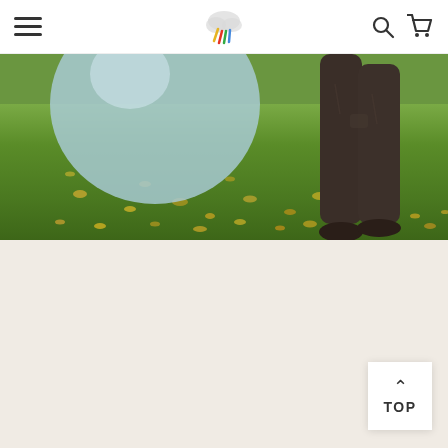Navigation bar with hamburger menu, logo, search icon, and cart icon
[Figure (photo): Outdoor scene showing green grass with scattered autumn yellow leaves, a large light blue balloon/ball on the left, and person's legs in dark brown trousers standing on the right]
TOP